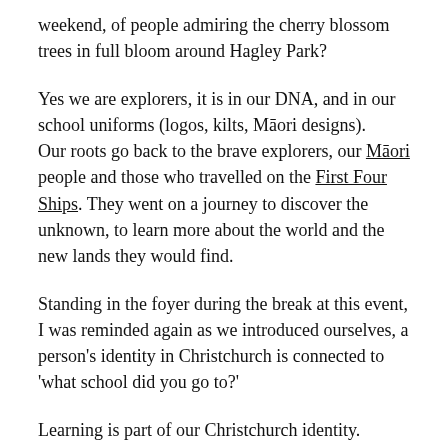weekend, of people admiring the cherry blossom trees in full bloom around Hagley Park?
Yes we are explorers, it is in our DNA, and in our school uniforms (logos, kilts, Māori designs).
Our roots go back to the brave explorers, our Māori people and those who travelled on the First Four Ships. They went on a journey to discover the unknown, to learn more about the world and the new lands they would find.
Standing in the foyer during the break at this event, I was reminded again as we introduced ourselves, a person's identity in Christchurch is connected to 'what school did you go to?'
Learning is part of our Christchurch identity.
Our communities are centered around our schools.
Our education connects us to social networks/employment.
We value learning and the places it can take us.